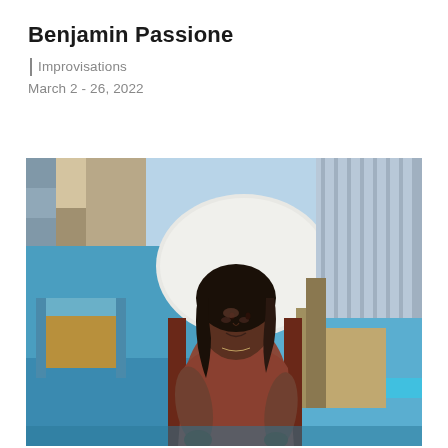Benjamin Passione
Improvisations
March 2 - 26, 2022
[Figure (illustration): Painting of a woman with dark hair seated in a chair, wearing a reddish-brown top, set in an interior scene with blue walls, chairs, and a large circular white form in the background. Loose, expressive brushwork in pastel and paint.]